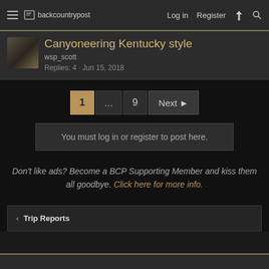backcountrypost | Log in | Register
Canyoneering Kentucky style
wsp_scott
Replies: 4 · Jun 15, 2018
1 ... 9 Next
You must log in or register to post here.
Don't like ads? Become a BCP Supporting Member and kiss them all goodbye. Click here for more info.
< Trip Reports